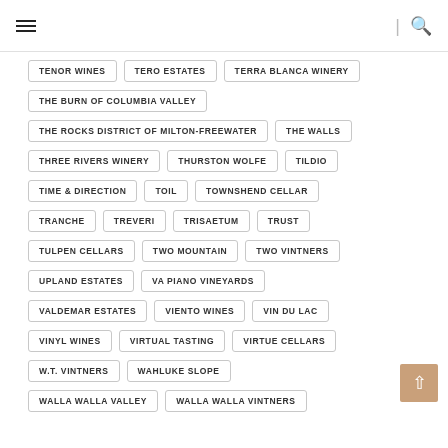Navigation header with hamburger menu and search icon
TENOR WINES
TERO ESTATES
TERRA BLANCA WINERY
THE BURN OF COLUMBIA VALLEY
THE ROCKS DISTRICT OF MILTON-FREEWATER
THE WALLS
THREE RIVERS WINERY
THURSTON WOLFE
TILDIO
TIME & DIRECTION
TOIL
TOWNSHEND CELLAR
TRANCHE
TREVERI
TRISAETUM
TRUST
TULPEN CELLARS
TWO MOUNTAIN
TWO VINTNERS
UPLAND ESTATES
VA PIANO VINEYARDS
VALDEMAR ESTATES
VIENTO WINES
VIN DU LAC
VINYL WINES
VIRTUAL TASTING
VIRTUE CELLARS
W.T. VINTNERS
WAHLUKE SLOPE
WALLA WALLA VALLEY
WALLA WALLA VINTNERS